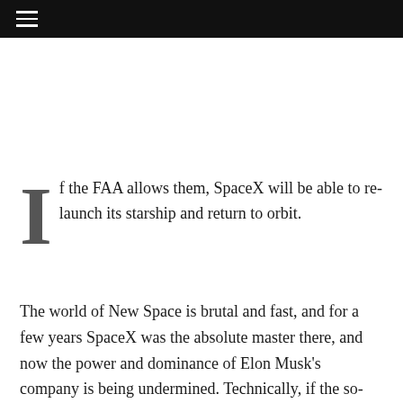If the FAA allows them, SpaceX will be able to re-launch its starship and return to orbit.
The world of New Space is brutal and fast, and for a few years SpaceX was the absolute master there, and now the power and dominance of Elon Musk’s company is being undermined. Technically, if the so-called “Boca Chica” company (launch site and operations around the starship)